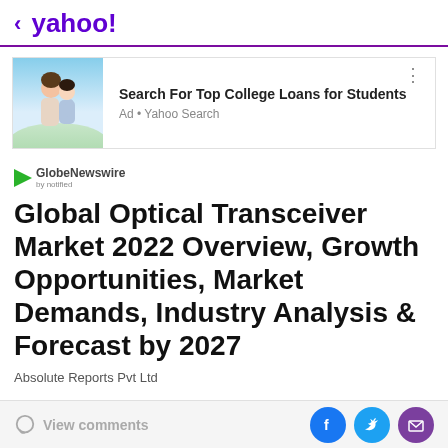< yahoo!
[Figure (screenshot): Advertisement banner: image of two happy people hugging outdoors, with text 'Search For Top College Loans for Students' and 'Ad • Yahoo Search']
[Figure (logo): GlobeNewswire by notified logo]
Global Optical Transceiver Market 2022 Overview, Growth Opportunities, Market Demands, Industry Analysis & Forecast by 2027
Absolute Reports Pvt Ltd
View comments